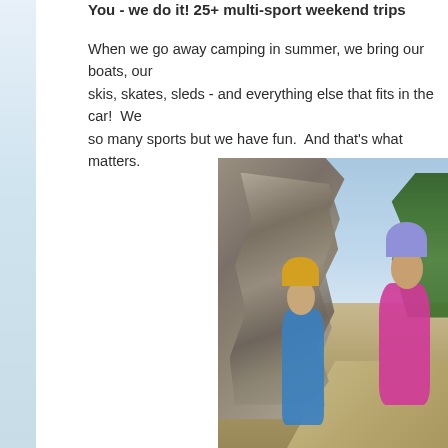You - we do it! 25+ multi-sport weekend trips
When we go away camping in summer, we bring our boats, our skis, skates, sleds - and everything else that fits in the car!  We so many sports but we have fun.  And that's what matters.
[Figure (photo): Outdoor photo showing cyclists on a dirt trail next to a large rocky cliff face with trees in the background and blue sky. A woman in pink sports top and purple helmet and a child in yellow shirt and helmet are visible on bicycles.]